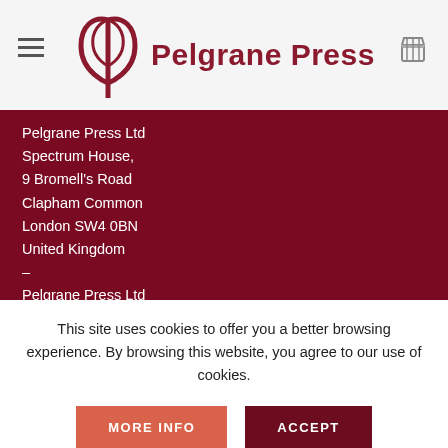Pelgrane Press
Pelgrane Press Ltd
Spectrum House,
9 Bromell's Road
Clapham Common
London SW4 0BN
United Kingdom
–
Pelgrane Press Ltd
c/o Jason Walters
1287 State Route 34
Gerlach, NV 89412
This site uses cookies to offer you a better browsing experience. By browsing this website, you agree to our use of cookies.